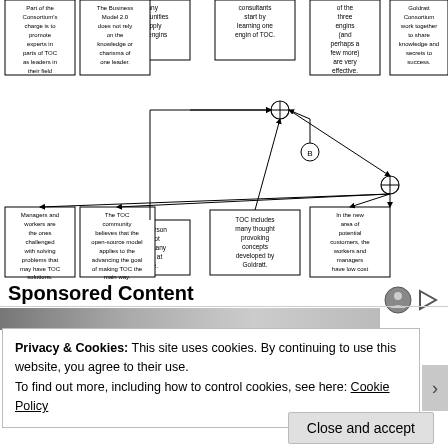[Figure (flowchart): TOC (Theory of Constraints) flowchart diagram showing interconnected boxes with arrows. Boxes contain text about: many opportunities to apply TOC engins; consultants start by learning one engin of TOC; of the three engins (and perhaps a few more) are very effective; Goldratt Consortium work together to share knowledge and secrets to success; Part of the Consortium's charge is to promote experts in parts of TOC as leaders in their field; The Business Model 2.0 does not rely on the knowledge or charisma of one leader; One person cannot learn many things at once; TOC includes many thought provoking concepts developed by Goldratt; In the new area of potential customers, the workers and managers have low cost access to TOC knowledge; Managers and workers are the ones challenged with solving problems that may have TOC solutions; The TOC community believes that the open-source model applies to the advancing the goal of making TOC the main way. Connected with arrows and junction nodes (circle with cross symbol), with a loop node labeled B.]
Sponsored Content
[Figure (photo): A partial photo strip visible behind a cookie consent banner, showing a person or scene, partially obscured.]
Privacy & Cookies: This site uses cookies. By continuing to use this website, you agree to their use.
To find out more, including how to control cookies, see here: Cookie Policy
Close and accept